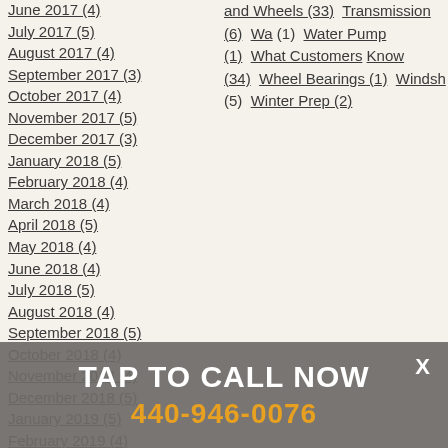June 2017 (4)
July 2017 (5)
August 2017 (4)
September 2017 (3)
October 2017 (4)
November 2017 (5)
December 2017 (3)
January 2018 (5)
February 2018 (4)
March 2018 (4)
April 2018 (5)
May 2018 (4)
June 2018 (4)
July 2018 (5)
August 2018 (4)
September 2018 (5)
October 2018 (4)
November 2018 (4)
December 2018 (5)
January 2019 (5)
February 2019 (4)
March 2019 (5)
April 2019 (4)
May 2019 (4)
June 2019 (5)
and Wheels (33)  Transmission (6)  Wa... (1)  Water Pump (1)  What Customers Know (34)  Wheel Bearings (1)  Windsh... (5)  Winter Prep (2)